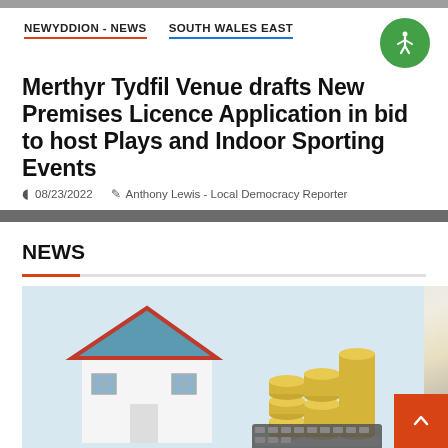NEWYDDION - NEWS   SOUTH WALES EAST
Merthyr Tydfil Venue drafts New Premises Licence Application in bid to host Plays and Indoor Sporting Events
08/23/2022   Anthony Lewis - Local Democracy Reporter
NEWS
[Figure (photo): Stock photo of a miniature house model next to stacks of coins and a calculator, representing property or financial topics.]